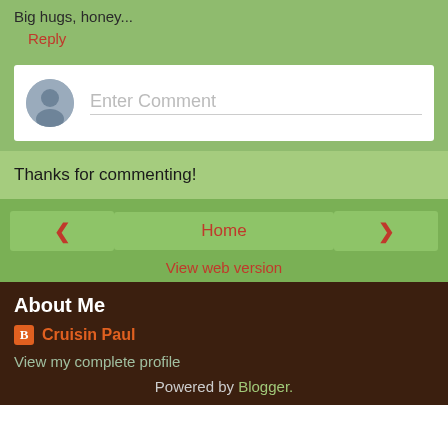Big hugs, honey...
Reply
[Figure (other): Comment input box with avatar placeholder and Enter Comment text field]
Thanks for commenting!
< Home >
View web version
About Me
Cruisin Paul
View my complete profile
Powered by Blogger.